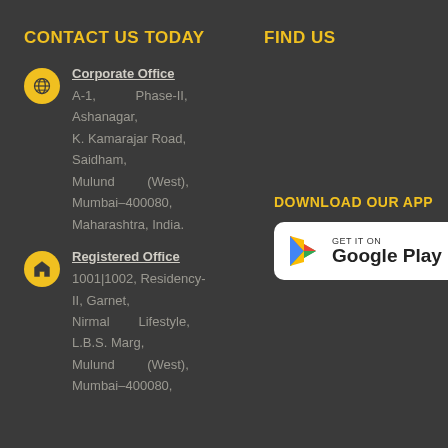CONTACT US TODAY
FIND US
Corporate Office
A-1, Phase-II, Ashanagar,
K. Kamarajar Road, Saidham,
Mulund (West),
Mumbai–400080,
Maharashtra, India.
Registered Office
1001|1002, Residency-II, Garnet,
Nirmal Lifestyle,
L.B.S. Marg,
Mulund (West),
Mumbai–400080,
DOWNLOAD OUR APP
[Figure (logo): Google Play badge with GET IT ON text and Google Play logo]